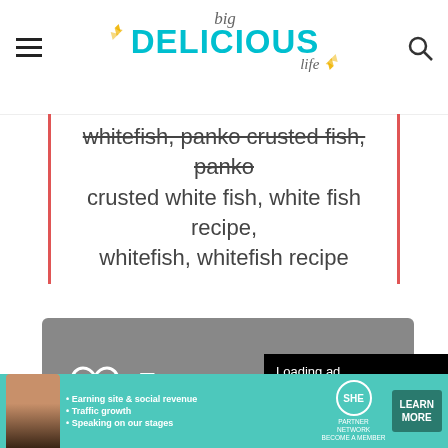big DELICIOUS life
whitefish, panko crusted fish, panko crusted white fish, white fish recipe, whitefish, whitefish recipe
[Figure (screenshot): Gray card widget with heart icon and truncated text 'Tr...' and 'Le...' with underline, partially covered by a video player overlay showing 'Loading ad' with spinner and video controls (pause, expand, mute)]
[Figure (screenshot): SHE Partner Network advertisement banner with woman photo, bullet points about earning site revenue, traffic growth, speaking on stages, SHE logo, and Learn More button]